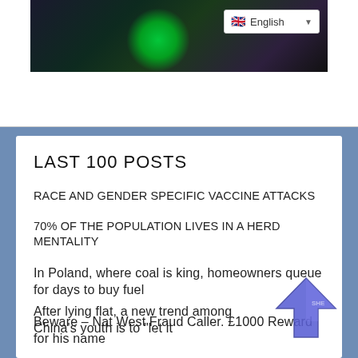[Figure (photo): Dark image strip at top with green glowing element, partially visible, showing dark tones with green highlights]
LAST 100 POSTS
RACE AND GENDER SPECIFIC VACCINE ATTACKS
70% OF THE POPULATION LIVES IN A HERD MENTALITY
In Poland, where coal is king, homeowners queue for days to buy fuel
Beware – Nat West Fraud Caller. £1000 Reward for his name
SOURCE: TRUMP HAS FRAZZLEDRIP – LISTEN TO EYEWITNESS JESSIE CZEBOTAR DESCRIBE WHAT SHE WITNESSED
After lying flat, a new trend among China's youth is to "let it
[Figure (illustration): Blue/purple upward-pointing arrow icon (back-to-top button) in bottom right corner]